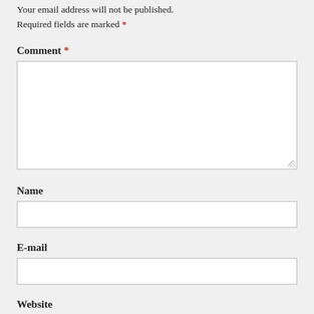Your email address will not be published. Required fields are marked *
Comment *
[Figure (other): Empty comment textarea input box with resize handle]
Name
[Figure (other): Empty Name text input box]
E-mail
[Figure (other): Empty E-mail text input box]
Website